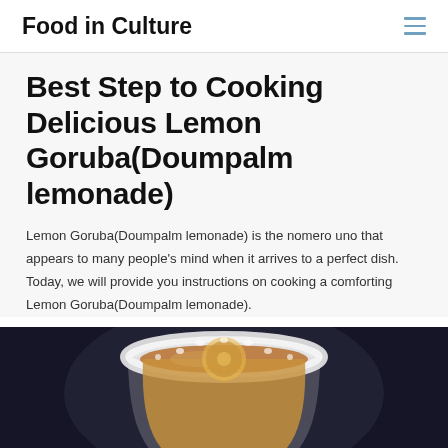Food in Culture
Best Step to Cooking Delicious Lemon Goruba(Doumpalm lemonade)
Lemon Goruba(Doumpalm lemonade) is the nomero uno that appears to many people's mind when it arrives to a perfect dish. Today, we will provide you instructions on cooking a comforting Lemon Goruba(Doumpalm lemonade).
[Figure (photo): Photo of a Lemon Goruba (Doumpalm lemonade) drink in a white sugar-rimmed glass on a dark background, showing a brownish liquid.]